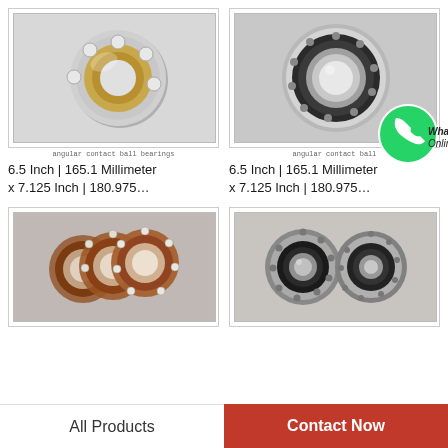[Figure (photo): Angular contact ball bearing, single unit, gold/silver tones, 3D render]
angular contact ball bearings
6.5 Inch | 165.1 Millimeter x 7.125 Inch | 180.975…
[Figure (photo): Angular contact ball bearing, front view, dark/silver tones, photo]
angular contact ball bearings
6.5 Inch | 165.1 Millimeter x 7.125 Inch | 180.975…
[Figure (photo): Three angular contact ball bearings stacked, brown/silver tones]
[Figure (photo): Two angular contact ball bearings side by side, dark/silver tones]
All Products
Contact Now